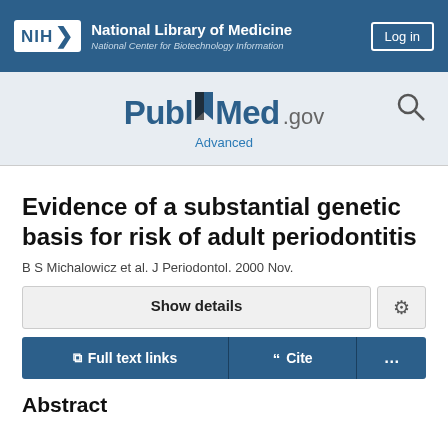NIH National Library of Medicine National Center for Biotechnology Information | Log in
[Figure (logo): PubMed.gov logo with Advanced search link and search icon]
Evidence of a substantial genetic basis for risk of adult periodontitis
B S Michalowicz et al. J Periodontol. 2000 Nov.
Show details
Full text links | Cite | ...
Abstract